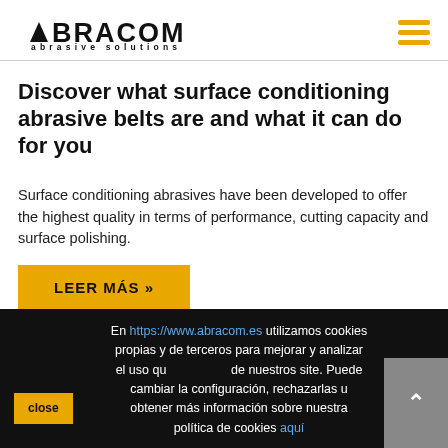ABRACOM abrasive solutions
Discover what surface conditioning abrasive belts are and what it can do for you
Surface conditioning abrasives have been developed to offer the highest quality in terms of performance, cutting capacity and surface polishing.
LEER MÁS »
En https://www.abracom.es utilizamos cookies propias y de terceros para mejorar y analizar el uso que hacemos de nuestros site. Puede cambiar la configuración, rechazarlas u obtener más información sobre nuestra política de cookies aquí